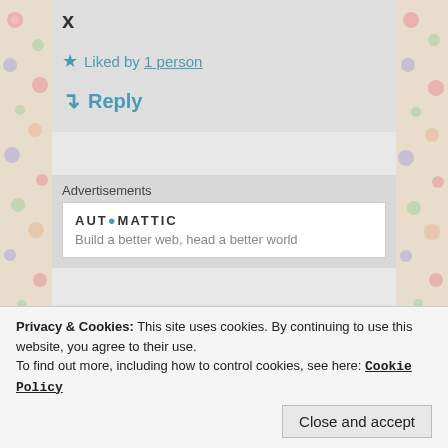x
★ Liked by 1 person
↵ Reply
Advertisements
[Figure (logo): Automattic logo with stylized 'o' and tagline 'Build a better web, head a better world']
[Figure (illustration): Quilt pattern avatar for kendalssashabrood in purple and white geometric pattern]
KENDALSSASHABROOD
Privacy & Cookies: This site uses cookies. By continuing to use this website, you agree to their use.
To find out more, including how to control cookies, see here: Cookie Policy
Close and accept